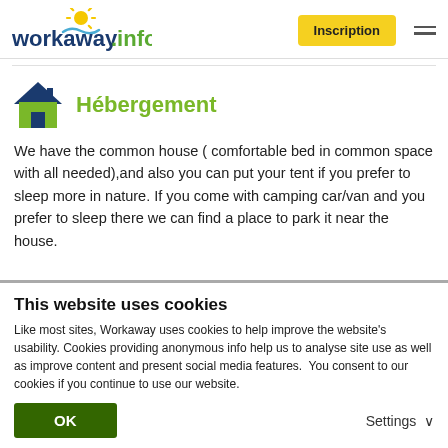workaway.info — Inscription
Hébergement
We have the common house ( comfortable bed in common space with all needed),and also you can put your tent if you prefer to sleep more in nature. If you come with camping car/van and you prefer to sleep there we can find a place to park it near the house.
This website uses cookies
Like most sites, Workaway uses cookies to help improve the website's usability. Cookies providing anonymous info help us to analyse site use as well as improve content and present social media features.  You consent to our cookies if you continue to use our website.